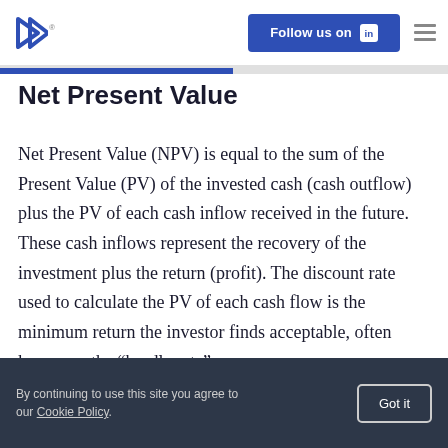Follow us on LinkedIn
Net Present Value
Net Present Value (NPV) is equal to the sum of the Present Value (PV) of the invested cash (cash outflow) plus the PV of each cash inflow received in the future. These cash inflows represent the recovery of the investment plus the return (profit). The discount rate used to calculate the PV of each cash flow is the minimum return the investor finds acceptable, often known as the “hurdle rate”.
By continuing to use this site you agree to our Cookie Policy. Got it